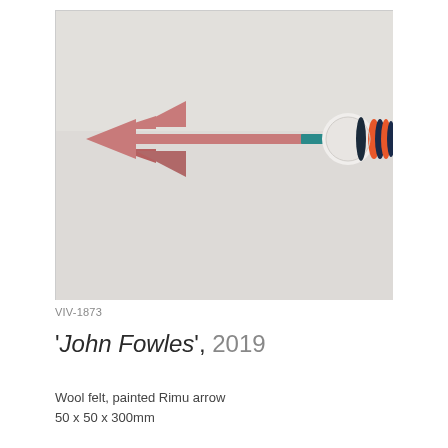[Figure (photo): A decorative arrow artwork with a pink/salmon painted body and arrowhead made of wool felt on the left, transitioning to a teal/turquoise and brown section near the nock, with colorful rings of wool felt in white, navy, orange stacked near the right end of the arrow. The background is pale grey-white.]
VIV-1873
'John Fowles', 2019
Wool felt, painted Rimu arrow
50 x 50 x 300mm